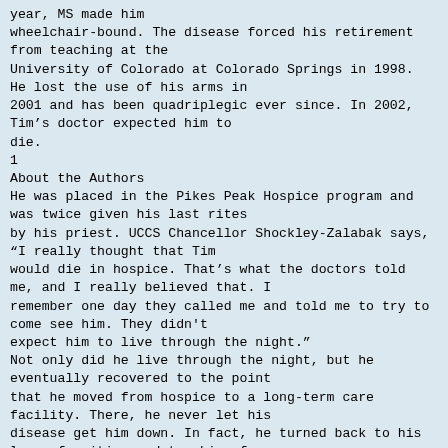year, MS made him wheelchair-bound. The disease forced his retirement from teaching at the University of Colorado at Colorado Springs in 1998. He lost the use of his arms in 2001 and has been quadriplegic ever since. In 2002, Tim's doctor expected him to die.
1
About the Authors
He was placed in the Pikes Peak Hospice program and was twice given his last rites by his priest. UCCS Chancellor Shockley-Zalabak says, “I really thought that Tim would die in hospice. That’s what the doctors told me, and I really believed that. I remember one day they called me and told me to try to come see him. They didn't expect him to live through the night.” Not only did he live through the night, but he eventually recovered to the point that he moved from hospice to a long-term care facility. There, he never let his disease get him down. In fact, he turned back to his love of writing and teaching for inspiration. He obtained a voice-activated computer, recruited a coauthor, Libby Rittenberg of Colorado College, and turned his attention to revising his principles of economics book. Unnamed Publisher is honored to publish a new, first-edition relaunch of this wonderful book, and is proud to bring Tim’s incredible talents as a